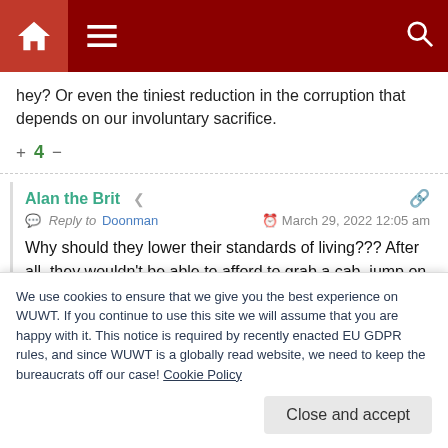Navigation header bar with home, menu, and search icons
hey? Or even the tiniest reduction in the corruption that depends on our involuntary sacrifice.
+ 4 −
Alan the Brit
Reply to Doonman · March 29, 2022 12:05 am
Why should they lower their standards of living??? After all, they wouldn't be able to afford to grab a cab, jump on a First Class flight from …
We use cookies to ensure that we give you the best experience on WUWT. If you continue to use this site we will assume that you are happy with it. This notice is required by recently enacted EU GDPR rules, and since WUWT is a globally read website, we need to keep the bureaucrats off our case! Cookie Policy
Close and accept